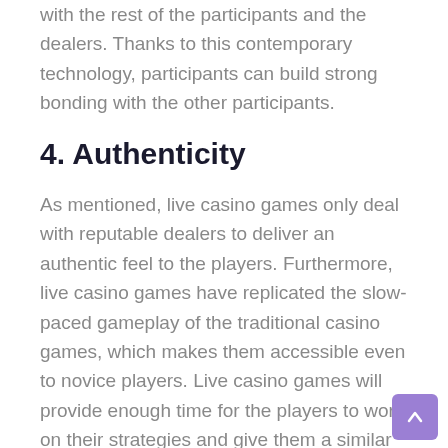with the rest of the participants and the dealers. Thanks to this contemporary technology, participants can build strong bonding with the other participants.
4. Authenticity
As mentioned, live casino games only deal with reputable dealers to deliver an authentic feel to the players. Furthermore, live casino games have replicated the slow-paced gameplay of the traditional casino games, which makes them accessible even to novice players. Live casino games will provide enough time for the players to work on their strategies and give them a similar feel to genuine casino games.